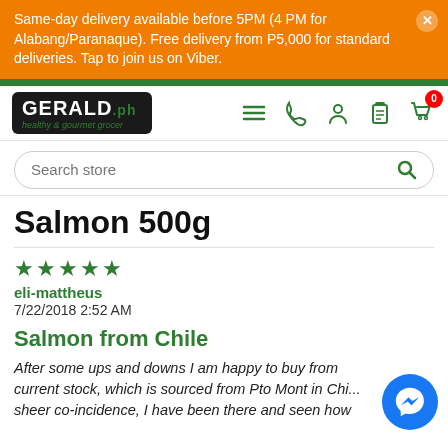Same-day delivery available before 5PM (4 PM for Alabang/Paranaque). Free delivery from P5,000 for standard deliveries. Tap to join us on Viber.
[Figure (logo): Gerald.ph healthy & gourmet grocer logo]
Search store
Salmon 500g
★★★★★
eli-mattheus
7/22/2018 2:52 AM
Salmon from Chile
After some ups and downs I am happy to buy from current stock, which is sourced from Pto Mont in Ch... sheer co-incidence, I have been there and seen how